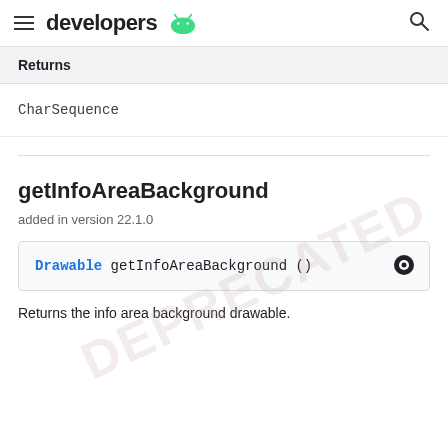developers (Android logo) [search icon]
| Returns |
| --- |
| CharSequence |
getInfoAreaBackground
added in version 22.1.0
Drawable getInfoAreaBackground ()
Returns the info area background drawable.